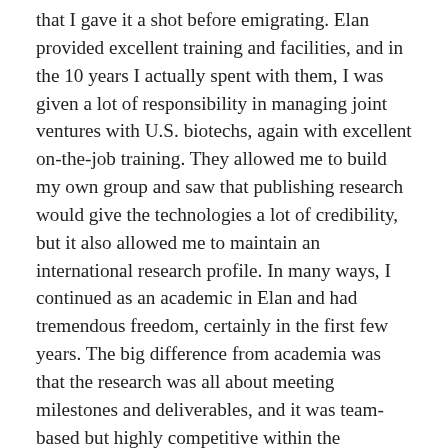that I gave it a shot before emigrating. Elan provided excellent training and facilities, and in the 10 years I actually spent with them, I was given a lot of responsibility in managing joint ventures with U.S. biotechs, again with excellent on-the-job training. They allowed me to build my own group and saw that publishing research would give the technologies a lot of credibility, but it also allowed me to maintain an international research profile. In many ways, I continued as an academic in Elan and had tremendous freedom, certainly in the first few years. The big difference from academia was that the research was all about meeting milestones and deliverables, and it was team-based but highly competitive within the company. In 2001, I was looking for a new challenge, and it emerged precisely from the relationships I had helped build between Elan and the academic community through joint supervision of Ph.D. students, having summer students in the lab, and lecturing at UCD. UCD rather surprisingly suggested that I should apply for a lectureship in veterinary pharmacology at UCD (even